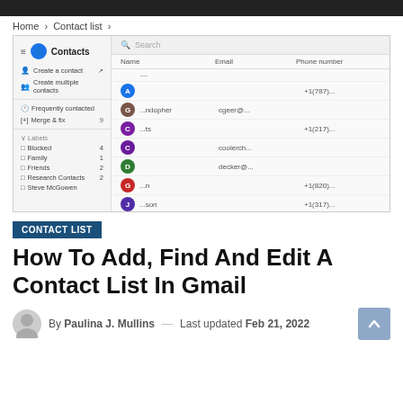Home > Contact list >
[Figure (screenshot): Google Contacts web interface screenshot showing sidebar with options (Create a contact, Create multiple contacts, Frequently contacted, Merge & fix, Labels, Blocked 4, Family 1, Friends 2, Research Contacts 2, Steve McGowen) and main area listing contacts with Name, Email, Phone number columns. Contact rows include avatars labeled A, G, C, C, D, G, J with partial email and phone data visible.]
CONTACT LIST
How To Add, Find And Edit A Contact List In Gmail
By Paulina J. Mullins — Last updated Feb 21, 2022